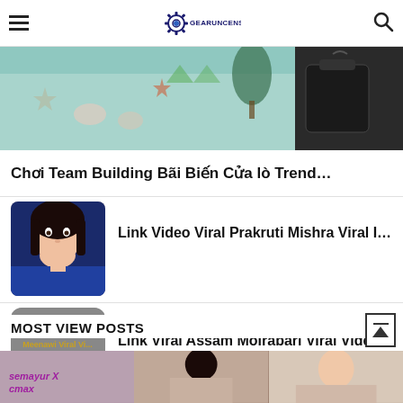gearuncensord.com
[Figure (photo): Beach team building scene with starfish, shells, and decorations on left; dark luggage/bag on right]
Chơi Team Building Bãi Biến Cửa lò Trend…
[Figure (photo): Young woman posing with hand on chin, wearing blue top]
Link Video Viral Prakruti Mishra Viral I…
[Figure (photo): Gray rounded thumbnail with yellow text 'Meenawi Viral Vi... Meenawi Viral Vi...']
Link Viral Assam Moirabari Viral Video O…
MOST VIEW POSTS
[Figure (photo): Three bottom images: left with semayur X text overlay, center with dark-haired person, right with person making gesture]